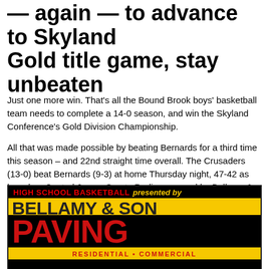— again — to advance to Skyland Gold title game, stay unbeaten
Just one more win. That's all the Bound Brook boys' basketball team needs to complete a 14-0 season, and win the Skyland Conference's Gold Division Championship.
All that was made possible by beating Bernards for a third time this season – and 22nd straight time overall. The Crusaders (13-0) beat Bernards (9-3) at home Thursday night, 47-42 as heard on Central Jersey Sports Radio, powered by Bellamy & Son Paving.
[Figure (advertisement): Bellamy & Son Paving advertisement for High School Basketball. Black background with yellow and red text. Top line reads 'HIGH SCHOOL BASKETBALL presented by' in red and yellow italic. Middle yellow bar reads 'BELLAMY & SON'. Large red text on black reads 'PAVING'. Bottom yellow bar reads 'RESIDENTIAL • COMMERCIAL'.]